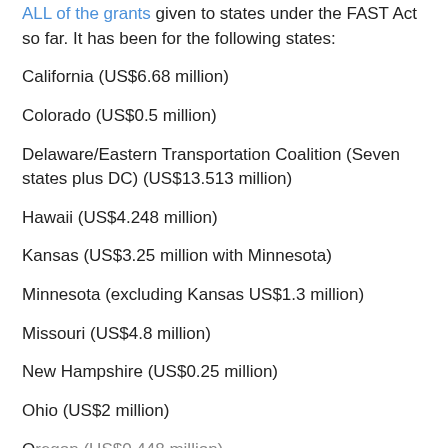ALL of the grants given to states under the FAST Act so far. It has been for the following states:
California (US$6.68 million)
Colorado (US$0.5 million)
Delaware/Eastern Transportation Coalition (Seven states plus DC) (US$13.513 million)
Hawaii (US$4.248 million)
Kansas (US$3.25 million with Minnesota)
Minnesota (excluding Kansas US$1.3 million)
Missouri (US$4.8 million)
New Hampshire (US$0.25 million)
Ohio (US$2 million)
Oregon (US$0.448 million)